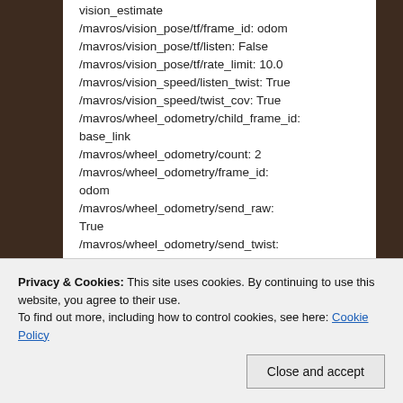vision_estimate
/mavros/vision_pose/tf/frame_id: odom
/mavros/vision_pose/tf/listen: False
/mavros/vision_pose/tf/rate_limit: 10.0
/mavros/vision_speed/listen_twist: True
/mavros/vision_speed/twist_cov: True
/mavros/wheel_odometry/child_frame_id: base_link
/mavros/wheel_odometry/count: 2
/mavros/wheel_odometry/frame_id: odom
/mavros/wheel_odometry/send_raw: True
/mavros/wheel_odometry/send_twist: False
Privacy & Cookies: This site uses cookies. By continuing to use this website, you agree to their use.
To find out more, including how to control cookies, see here: Cookie Policy
False